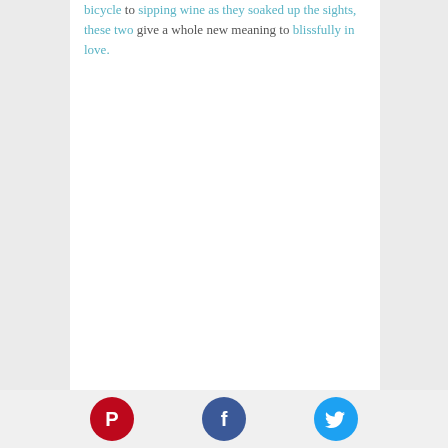bicycle to sipping wine as they soaked up the sights, these two give a whole new meaning to blissfully in love.
Pinterest | Facebook | Twitter social share icons